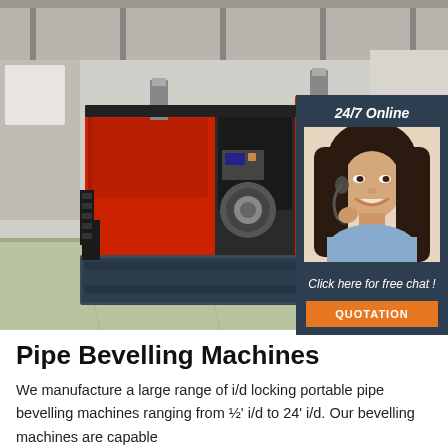[Figure (photo): Industrial pipe bevelling machine in red and dark grey/blue, photographed in a factory setting. Large heavy machinery with red painted panels and black mechanical components on a factory floor.]
[Figure (photo): Sidebar overlay showing '24/7 Online' text, a female customer service agent wearing a headset and smiling, text 'Click here for free chat!' and an orange button labeled 'QUOTATION']
Pipe Bevelling Machines
We manufacture a large range of i/d locking portable pipe bevelling machines ranging from ½' i/d to 24' i/d. Our bevelling machines are capable